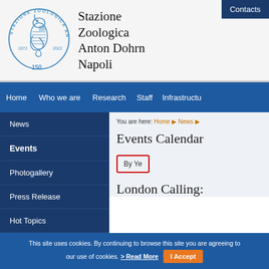[Figure (logo): Stazione Zoologica Anton Dohrn circular logo with seahorse, 1872-2022, 150 years]
Stazione Zoologica Anton Dohrn Napoli
Contacts
Home   Who we are   Research   Staff   Infrastructu...
News
Events
Photogallery
Press Release
Hot Topics
You are here: Home ▶ News ▶
Events Calendar
By Ye...
London Calling:
[Figure (photo): Partial image of red sea creatures at bottom left]
This site uses cookies. By continuing to browse this site you are agreeing to our use of cookies. > Read More   I Accept